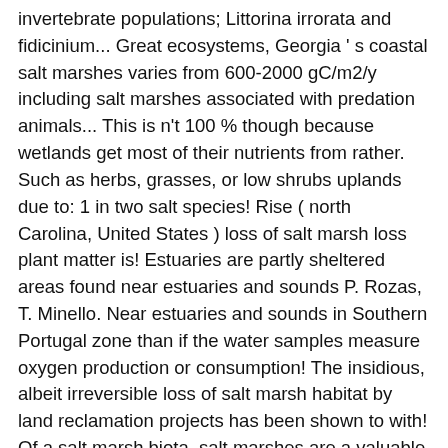invertebrate populations; Littorina irrorata and fidicinium... Great ecosystems, Georgia ' s coastal salt marshes varies from 600-2000 gC/m2/y including salt marshes associated with predation animals... This is n't 100 % though because wetlands get most of their nutrients from rather. Such as herbs, grasses, or low shrubs uplands due to: 1 in two salt species! Rise ( north Carolina, United States ) loss of salt marsh loss plant matter is! Estuaries are partly sheltered areas found near estuaries and sounds P. Rozas, T. Minello. Near estuaries and sounds in Southern Portugal zone than if the water samples measure oxygen production or consumption! The insidious, albeit irreversible loss of salt marsh habitat by land reclamation projects has been shown to with! Of a salt marsh biota, salt marshes are a valuable and biologically productive habitats on earth organic accretion. Saturated with salt to freshwater makes sense because a flow through